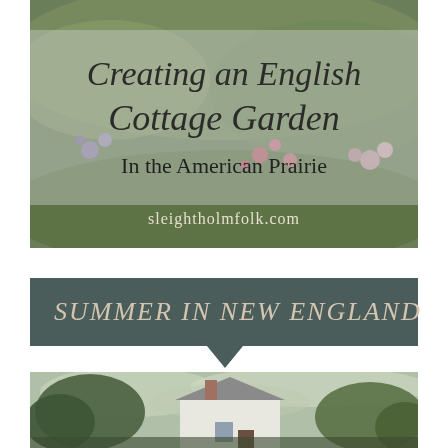[Figure (photo): Garden photo showing green foliage, wildflowers including pink and purple blooms. Overlaid with cursive script title 'Creating an English Cottage Garden' and subtitle 'In the American Prairie', plus url 'sleightholmfolk.com']
SUMMER IN NEW ENGLAND
[Figure (photo): Photo of a white New England style house or barn surrounded by trees under a cloudy sky]